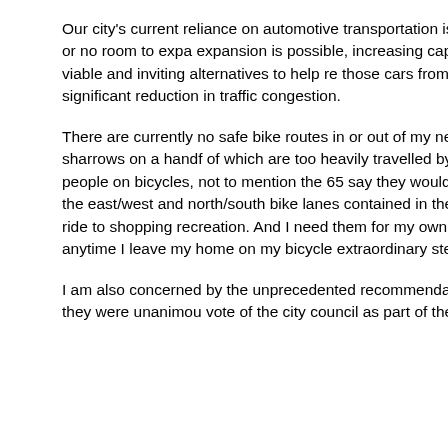Our city's current reliance on automotive transportation is clearly u... streets are already at or near capacity, with little or no room to expa... expansion is possible, increasing capacity will only increase deman... choice but to provide safe, viable and inviting alternatives to help r... those cars from the roads. It only takes a small reduction in traffic v... significant reduction in traffic congestion.
There are currently no safe bike routes in or out of my neighborhoo... west of La Brea, with few bike lanes and only sharrows on a handf... of which are too heavily travelled by motor vehicles to accommoda... overwhelming majority of people on bicycles, not to mention the 65... say they would like to bike more if they had safer alternatives. We ... both the east/west and north/south bike lanes contained in the plan... people to commute to work and school, as well as ride to shopping... recreation. And I need them for my own personal safety; even as a... bicyclist, I must ride in fear anytime I leave my home on my bicycle... extraordinary steps to ensure I'm seen by motorists, even in broad...
I am also concerned by the unprecedented recommendation to rem... Westwood Blvd from the Mobility Plan — after they were unanimou... vote of the city council as part of the 2010 Bike Plan, which has be...